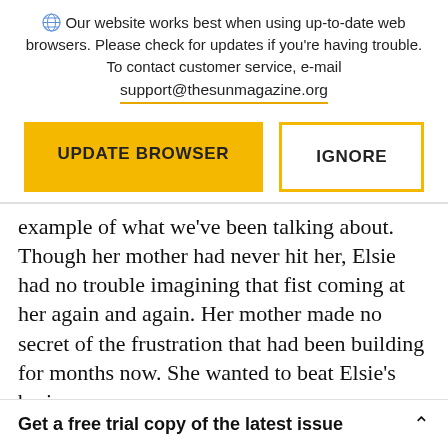Our website works best when using up-to-date web browsers. Please check for updates if you're having trouble. To contact customer service, e-mail support@thesunmagazine.org
[Figure (other): Two buttons: a yellow filled button labeled UPDATE BROWSER and a yellow-outlined button labeled IGNORE]
example of what we've been talking about. Though her mother had never hit her, Elsie had no trouble imagining that fist coming at her again and again. Her mother made no secret of the frustration that had been building for months now. She wanted to beat Elsie's brains
Get a free trial copy of the latest issue